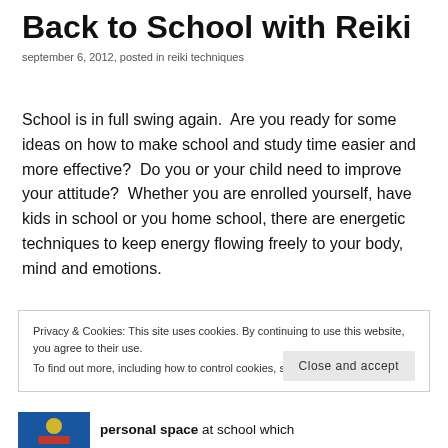Back to School with Reiki
september 6, 2012, posted in reiki techniques
School is in full swing again.  Are you ready for some ideas on how to make school and study time easier and more effective?  Do you or your child need to improve your attitude?  Whether you are enrolled yourself, have kids in school or you home school, there are energetic techniques to keep energy flowing freely to your body, mind and emotions.
Privacy & Cookies: This site uses cookies. By continuing to use this website, you agree to their use.
To find out more, including how to control cookies, see here: Cookie Policy
Close and accept
personal space at school which